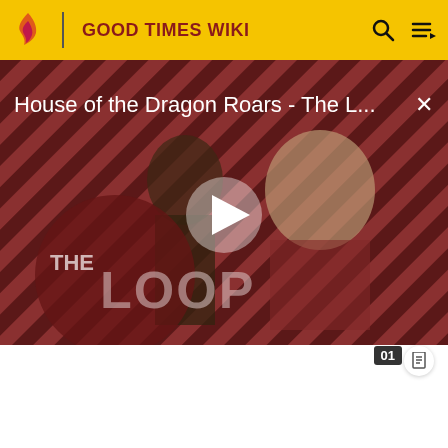GOOD TIMES WIKI
[Figure (screenshot): Video thumbnail for 'House of the Dragon Roars - The L...' showing two characters against a red diagonal striped background with THE LOOP logo overlay and a white play button in the center. A close (X) button appears in the top-right corner.]
House of the Dragon Roars - The Loop
External links
Don Marshall article at Wikipedia